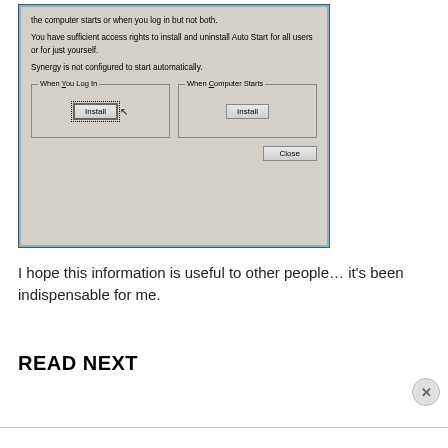[Figure (screenshot): Screenshot of a Windows dialog box for Synergy Auto Start configuration. Shows text about access rights and auto start, with two group boxes: 'When You Log In' with an Install button (focused/dotted border) and a cursor, and 'When Computer Starts' with an Install button. A Close button is at the bottom right.]
I hope this information is useful to other people… it's been indispensable for me.
READ NEXT